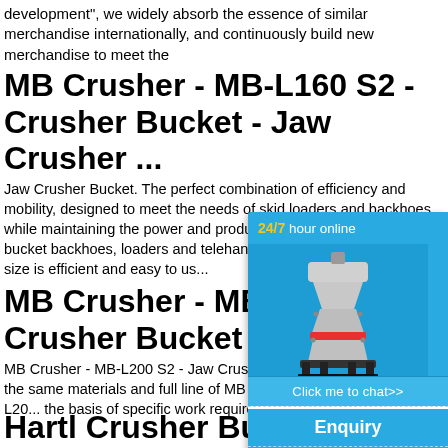development", we widely absorb the essence of similar merchandise internationally, and continuously build new merchandise to meet the
MB Crusher - MB-L160 S2 - Crusher Bucket - Jaw Crusher ...
Jaw Crusher Bucket. The perfect combination of efficiency and mobility, designed to meet the needs of skid loaders and backhoes while maintaining the power and products. The MB-L160 S2 crusher bucket backhoes, loaders and telehandlers betwe... The compact size is efficient and easy to us...
MB Crusher - MB-L200 Crusher Bucket - Jaw C...
MB Crusher - MB-L200 S2 - Jaw Crusher B... Crusher. Made with the same materials and full line of MB crusher buckets, the MB-L20... the basis of specific work requirements for
Hartl Crusher Bucket - J...
[Figure (illustration): Chat widget overlay showing: '24/7 hour online' text in white with '24/7' in yellow, an image of a cone crusher machine (white/orange/black), a 'Click me to chat>>' button, an 'Enquiry' section, and 'limingjlmofen' text at the bottom. Blue background (#29abe2).]